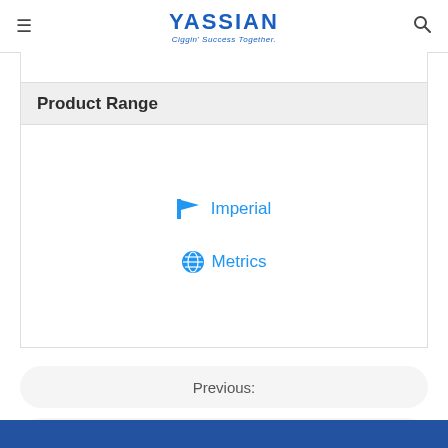YASSIAN – Ciggin' Success Together.
Product Range
Imperial
Metrics
Previous:
Next: